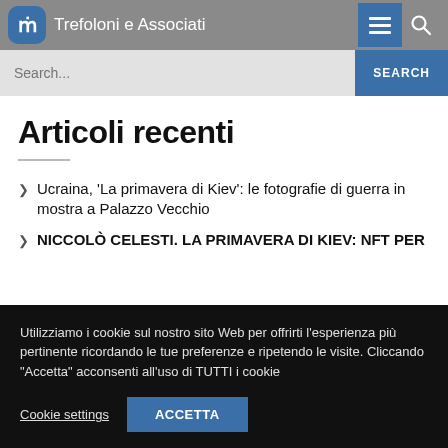Trefoloni e Associati
Articoli recenti
Ucraina, 'La primavera di Kiev': le fotografie di guerra in mostra a Palazzo Vecchio
NICCOLÒ CELESTI. LA PRIMAVERA DI KIEV: NFT PER
Utilizziamo i cookie sul nostro sito Web per offrirti l'esperienza più pertinente ricordando le tue preferenze e ripetendo le visite. Cliccando "Accetta" acconsenti all'uso di TUTTI i cookie
Cookie settings  ACCETTA